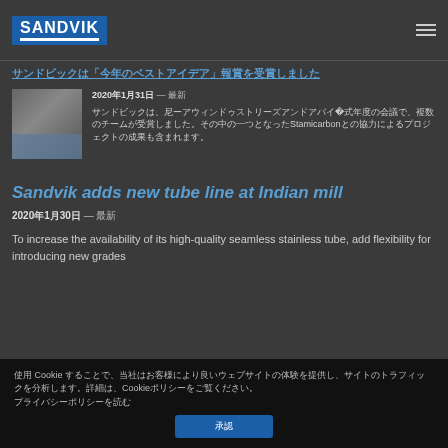SANDVIK
[Japanese/CJK text title link]
[Figure (photo): Industrial equipment photo, workers near large machinery]
2020年1月31日 — 最新 [CJK article text about 2020 and Stamicarbon]
Sandvik adds new tube line at Indian mill
2020年1月30日 — 最新
To increase the availability of its high-quality seamless stainless tube, add flexibility for introducing new grades
使用 Cookie [CJK cookie notice text]